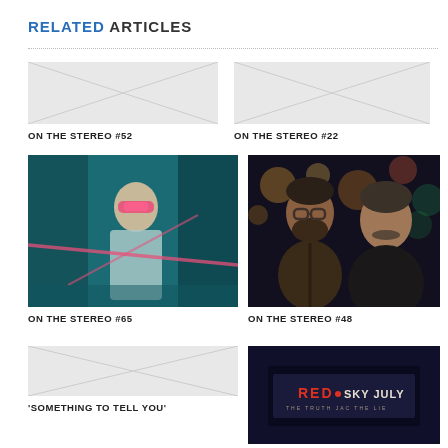RELATED ARTICLES
[Figure (photo): Placeholder image for article ON THE STEREO #52]
ON THE STEREO #52
[Figure (photo): Placeholder image for article ON THE STEREO #22]
ON THE STEREO #22
[Figure (photo): Photo of a woman with pink visor/glasses against teal background with pink laser light]
ON THE STEREO #65
[Figure (photo): Photo of two men at night with city bokeh lights in background]
ON THE STEREO #48
[Figure (photo): Placeholder for article 'SOMETHING TO TELL YOU']
'SOMETHING TO TELL YOU'
[Figure (photo): Nighttime sign reading RED SKY JULY]